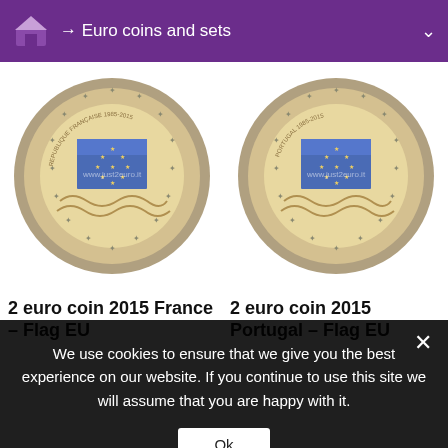→ Euro coins and sets
[Figure (photo): 2 euro coin 2015 France – Flag EU, commemorative coin showing EU flag design with REPUBLIQUE FRANCAISE inscription and 1985-2015 dates, watermark www.just2euro.it]
[Figure (photo): 2 euro coin 2015 Portugal – Flag EU, commemorative coin showing EU flag design with PORTUGAL inscription and 1985-2015 dates, watermark www.just2euro.it]
2 euro coin 2015 France – Flag EU
2 euro coin 2015 Portugal – Flag EU
We use cookies to ensure that we give you the best experience on our website. If you continue to use this site we will assume that you are happy with it.